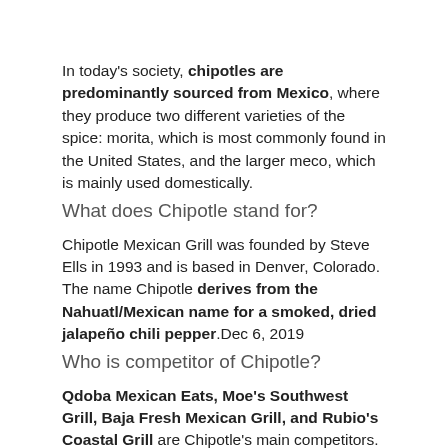In today's society, chipotles are predominantly sourced from Mexico, where they produce two different varieties of the spice: morita, which is most commonly found in the United States, and the larger meco, which is mainly used domestically.
What does Chipotle stand for?
Chipotle Mexican Grill was founded by Steve Ells in 1993 and is based in Denver, Colorado. The name Chipotle derives from the Nahuatl/Mexican name for a smoked, dried jalapeño chili pepper.Dec 6, 2019
Who is competitor of Chipotle?
Qdoba Mexican Eats, Moe's Southwest Grill, Baja Fresh Mexican Grill, and Rubio's Coastal Grill are Chipotle's main competitors. Although it is fast-food-oriented rather than fast-casual, Taco Bell has also started to compete with Chipotle by improving the quality of its food.
Who owns McDonald's now?